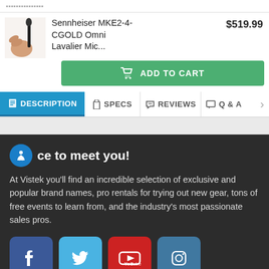Sennheiser MKE2-4-CGOLD Omni Lavalier Mic...
$519.99
ADD TO CART
DESCRIPTION | SPECS | REVIEWS | Q & A
Nice to meet you!
At Vistek you'll find an incredible selection of exclusive and popular brand names, pro rentals for trying out new gear, tons of free events to learn from, and the industry's most passionate sales pros.
[Figure (infographic): Social media icons: Facebook, Twitter, YouTube, Instagram]
Store Info
Shopping Info